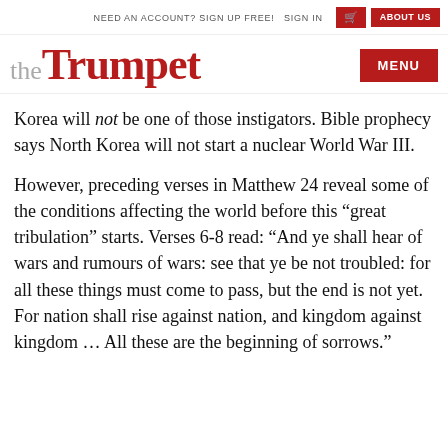NEED AN ACCOUNT? SIGN UP FREE!   SIGN IN   [cart icon]   ABOUT US
the Trumpet   MENU
Korea will not be one of those instigators. Bible prophecy says North Korea will not start a nuclear World War III.
However, preceding verses in Matthew 24 reveal some of the conditions affecting the world before this “great tribulation” starts. Verses 6-8 read: “And ye shall hear of wars and rumours of wars: see that ye be not troubled: for all these things must come to pass, but the end is not yet. For nation shall rise against nation, and kingdom against kingdom … All these are the beginning of sorrows.”